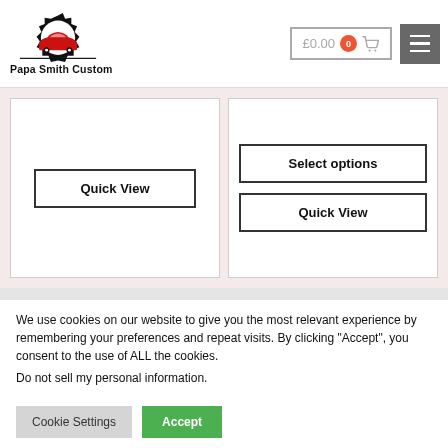[Figure (logo): Papa Smith Custom logo: gear/cog shape with red car silhouette inside, text 'Papa Smith Custom' below]
£0.00  0
[Figure (other): Hamburger menu icon button (3 horizontal lines) on grey background]
Quick View
Select options
Quick View
We use cookies on our website to give you the most relevant experience by remembering your preferences and repeat visits. By clicking “Accept”, you consent to the use of ALL the cookies.
Do not sell my personal information.
Cookie Settings
Accept